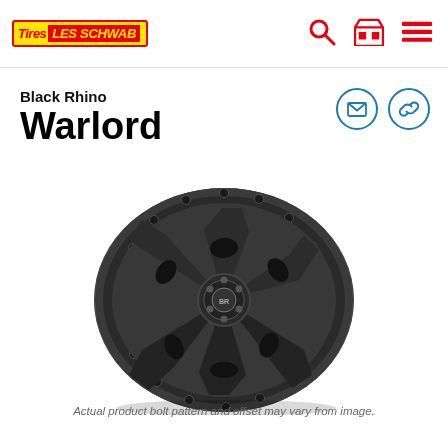Les Schwab Tires — navigation header with logo and icons
Black Rhino
Warlord
[Figure (photo): Black Rhino Warlord wheel in matte dark gray/black finish, shown at a 3/4 angle. The wheel features a 6-spoke design with hexagonal cutouts, beadlock-style outer ring with bolts, and a center cap with the Black Rhino logo.]
Actual product bolt pattern and offset may vary from image.